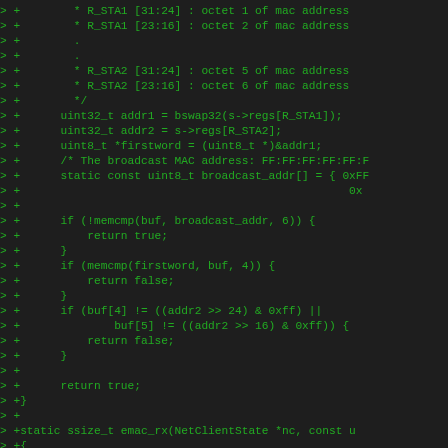[Figure (screenshot): Code diff snippet showing C source code additions for EMAC network interface driver in QEMU, displaying MAC address register parsing and broadcast/unicast address comparison logic. Lines prefixed with '> +' indicating added lines in a patch/diff format.]